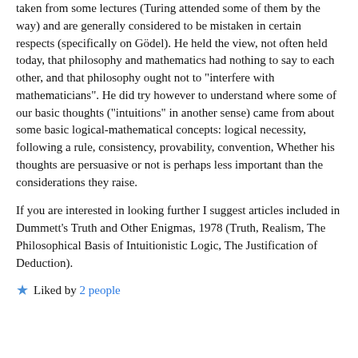taken from some lectures (Turing attended some of them by the way) and are generally considered to be mistaken in certain respects (specifically on Gödel). He held the view, not often held today, that philosophy and mathematics had nothing to say to each other, and that philosophy ought not to "interfere with mathematicians". He did try however to understand where some of our basic thoughts ("intuitions" in another sense) came from about some basic logical-mathematical concepts: logical necessity, following a rule, consistency, provability, convention, Whether his thoughts are persuasive or not is perhaps less important than the considerations they raise.
If you are interested in looking further I suggest articles included in Dummett's Truth and Other Enigmas, 1978 (Truth, Realism, The Philosophical Basis of Intuitionistic Logic, The Justification of Deduction).
★ Liked by 2 people